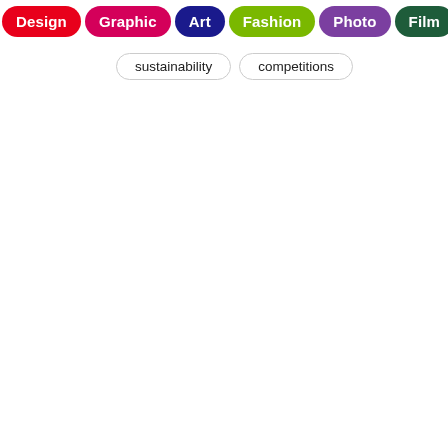Design  Graphic  Art  Fashion  Photo  Film  Video  Music
sustainability
competitions